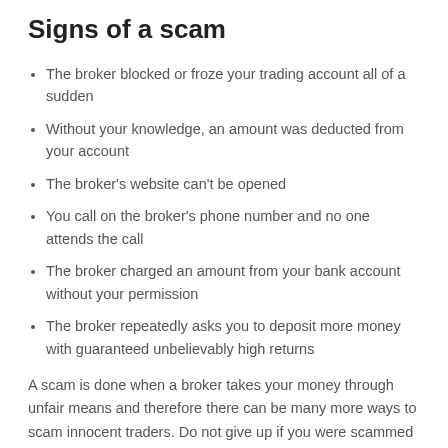Signs of a scam
The broker blocked or froze your trading account all of a sudden
Without your knowledge, an amount was deducted from your account
The broker's website can't be opened
You call on the broker's phone number and no one attends the call
The broker charged an amount from your bank account without your permission
The broker repeatedly asks you to deposit more money with guaranteed unbelievably high returns
A scam is done when a broker takes your money through unfair means and therefore there can be many more ways to scam innocent traders. Do not give up if you were scammed by Gfxroyal. We will help you to get your lost amount refunded. Please fill the form after you click 'File a complaint' button above and our experts will contact you and help you to start the process of your fund...